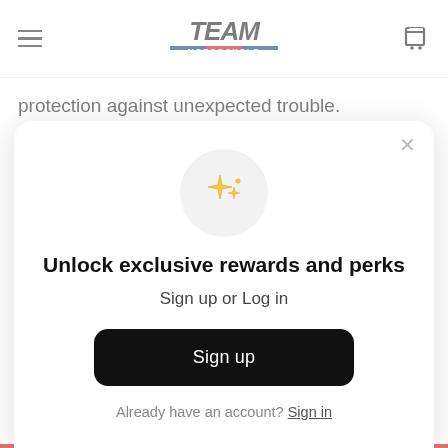Team Motorcycle
protection against unexpected trouble.

At Team Motorcycle, you can order your biker vest with confidence. Our vests come from some of the best known brands in the motorsports industry. And all of our products come with detailed information about their features. Plus, we also provide
[Figure (illustration): Sparkle/stars emoji icon on a light grey circular background]
Unlock exclusive rewards and perks
Sign up or Log in
Sign up
Already have an account? Sign in